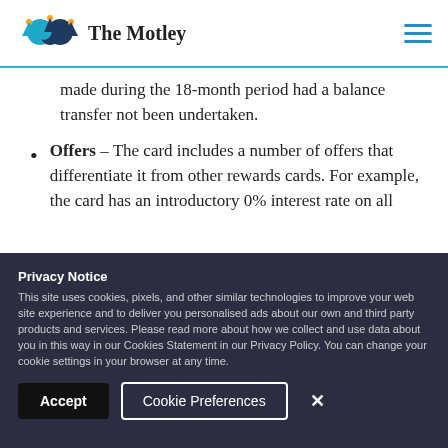The Motley Fool
made during the 18-month period had a balance transfer not been undertaken.
Offers – The card includes a number of offers that differentiate it from other rewards cards. For example, the card has an introductory 0% interest rate on all
Privacy Notice
This site uses cookies, pixels, and other similar technologies to improve your web site experience and to deliver you personalised ads about our own and third party products and services. Please read more about how we collect and use data about you in this way in our Cookies Statement in our Privacy Policy. You can change your cookie settings in your browser at any time.
Accept   Cookie Preferences   ×